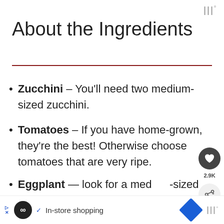|||°
About the Ingredients
Zucchini – You'll need two medium-sized zucchini.
Tomatoes – If you have home-grown, they're the best! Otherwise choose tomatoes that are very ripe.
Eggplant — look for a medium-sized eggplant that feels heavy for
In-store shopping